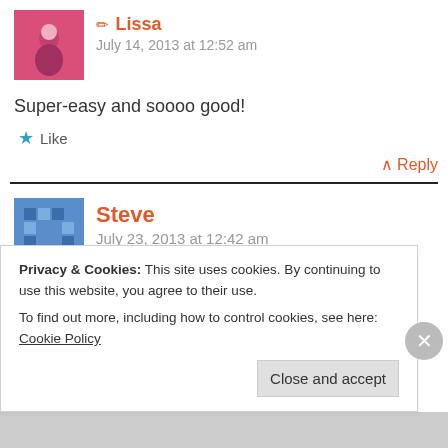✏ Lissa
July 14, 2013 at 12:52 am
Super-easy and soooo good!
★ Like
↑ Reply
Steve
July 23, 2013 at 12:42 am
Can I substitute Olive or canola oil for the rice
Privacy & Cookies: This site uses cookies. By continuing to use this website, you agree to their use.
To find out more, including how to control cookies, see here: Cookie Policy
Close and accept